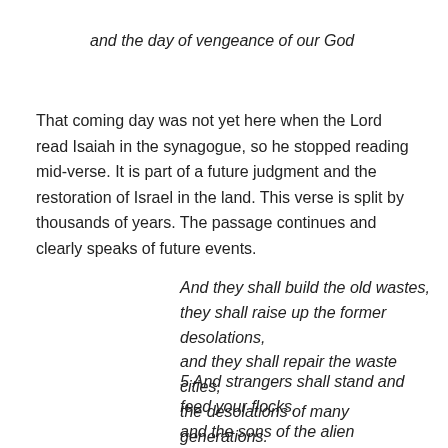and the day of vengeance of our God
That coming day was not yet here when the Lord read Isaiah in the synagogue, so he stopped reading mid-verse. It is part of a future judgment and the restoration of Israel in the land. This verse is split by thousands of years. The passage continues and clearly speaks of future events.
And they shall build the old wastes,
they shall raise up the former desolations,
and they shall repair the waste cities,
the desolations of many generations.
5 And strangers shall stand and feed your flocks,
and the sons of the alien [foreigner] shall be your plowmen and your vinedressers.
6 But ye shall be named the Priests of the Lord: